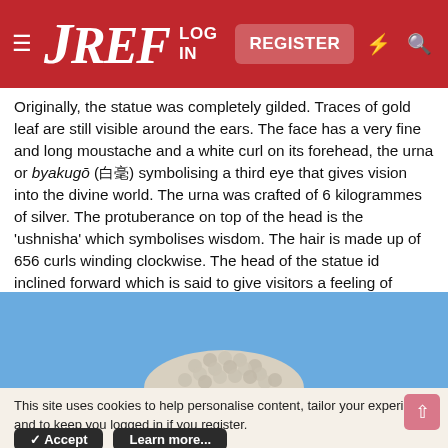JREF — LOG IN | REGISTER
Originally, the statue was completely gilded. Traces of gold leaf are still visible around the ears. The face has a very fine and long moustache and a white curl on its forehead, the urna or byakugō (白毫) symbolising a third eye that gives vision into the divine world. The urna was crafted of 6 kilogrammes of silver. The protuberance on top of the head is the 'ushnisha' which symbolises wisdom. The hair is made up of 656 curls winding clockwise. The head of the statue id inclined forward which is said to give visitors a feeling of intimacy.
[Figure (photo): Top of a Buddhist statue head with curled hair/ushnisha against a blue sky background]
This site uses cookies to help personalise content, tailor your experience and to keep you logged in if you register.
By continuing to use this site, you are consenting to our use of cookies.